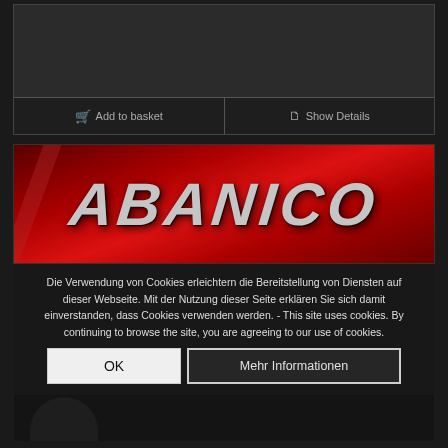[Figure (screenshot): Dark e-commerce product area with Add to basket and Show Details buttons]
[Figure (logo): ABANICO logo in large italic bold gray text on a red background]
Die Verwendung von Cookies erleichtern die Bereitstellung von Diensten auf dieser Webseite. Mit der Nutzung dieser Seite erklären Sie sich damit einverstanden, dass Cookies verwenden werden. - This site uses cookies. By continuing to browse the site, you are agreeing to our use of cookies.
OK
Mehr Informationen